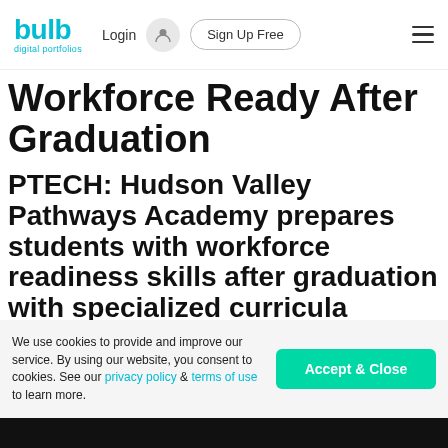bulb digital portfolios — Login | Sign Up Free
Workforce Ready After Graduation
PTECH: Hudson Valley Pathways Academy prepares students with workforce readiness skills after graduation with specialized curricula
We use cookies to provide and improve our service. By using our website, you consent to cookies. See our privacy policy & terms of use to learn more.